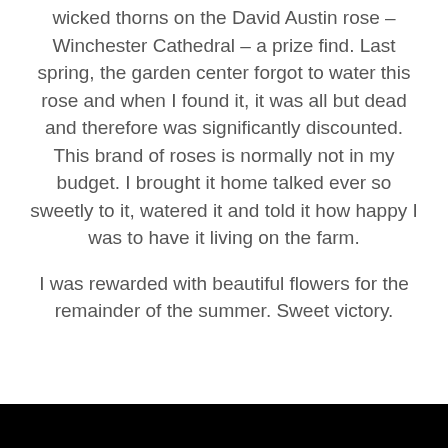wicked thorns on the David Austin rose – Winchester Cathedral – a prize find.  Last spring, the garden center forgot to water this rose and when I found it, it was all but dead and therefore was significantly discounted.  This brand of roses is normally not in my budget.  I brought it home talked ever so sweetly to it, watered it and told it how happy I was to have it living on the farm.

I was rewarded with beautiful flowers for the remainder of the summer.  Sweet victory.
[Figure (photo): Black bar at bottom of page]